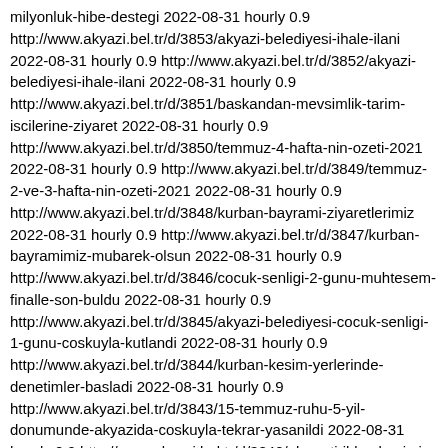milyonluk-hibe-destegi 2022-08-31 hourly 0.9 http://www.akyazi.bel.tr/d/3853/akyazi-belediyesi-ihale-ilani 2022-08-31 hourly 0.9 http://www.akyazi.bel.tr/d/3852/akyazi-belediyesi-ihale-ilani 2022-08-31 hourly 0.9 http://www.akyazi.bel.tr/d/3851/baskandan-mevsimlik-tarim-iscilerine-ziyaret 2022-08-31 hourly 0.9 http://www.akyazi.bel.tr/d/3850/temmuz-4-hafta-nin-ozeti-2021 2022-08-31 hourly 0.9 http://www.akyazi.bel.tr/d/3849/temmuz-2-ve-3-hafta-nin-ozeti-2021 2022-08-31 hourly 0.9 http://www.akyazi.bel.tr/d/3848/kurban-bayrami-ziyaretlerimiz 2022-08-31 hourly 0.9 http://www.akyazi.bel.tr/d/3847/kurban-bayramimiz-mubarek-olsun 2022-08-31 hourly 0.9 http://www.akyazi.bel.tr/d/3846/cocuk-senligi-2-gunu-muhtesem-finalle-son-buldu 2022-08-31 hourly 0.9 http://www.akyazi.bel.tr/d/3845/akyazi-belediyesi-cocuk-senligi-1-gunu-coskuyla-kutlandi 2022-08-31 hourly 0.9 http://www.akyazi.bel.tr/d/3844/kurban-kesim-yerlerinde-denetimler-basladi 2022-08-31 hourly 0.9 http://www.akyazi.bel.tr/d/3843/15-temmuz-ruhu-5-yil-donumunde-akyazida-coskuyla-tekrar-yasanildi 2022-08-31 hourly 0.9 http://www.akyazi.bel.tr/d/3842/ak-parti-il-baskanimiz-yunus-teverden-akyaziya-ziyaret 2022-08-31 hourly 0.9 http://www.akyazi.bel.tr/d/3841/15-temmuz-da-bayraklarimizla-meydanda-bulusuyoruz- 2022-08-31 hourly 0.9 http://www.akyazi.bel.tr/d/3840/akyazi-belediyesi-cocuk-senligi-